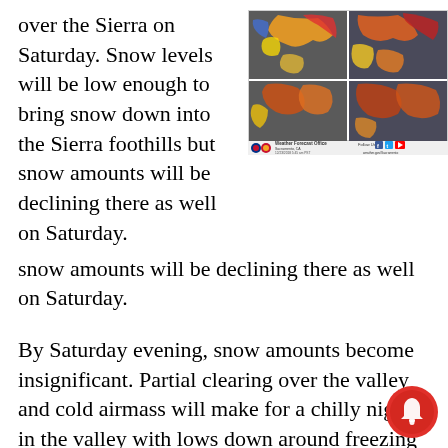over the Sierra on Saturday. Snow levels will be low enough to bring snow down into the Sierra foothills but snow amounts will be declining there as well on Saturday.
[Figure (map): NOAA Weather Forecast Office Sacramento CA weather map showing precipitation radar with color intensity, dated 12/23/2018 5:45 am PST. Four-panel map showing California and surrounding region with precipitation overlay in blues, yellows, oranges, and reds.]
By Saturday evening, snow amounts become insignificant. Partial clearing over the valley and cold airmass will make for a chilly night in the valley with lows down around freezing or a little lower.
Sunday looks dry at this time under upper ridging